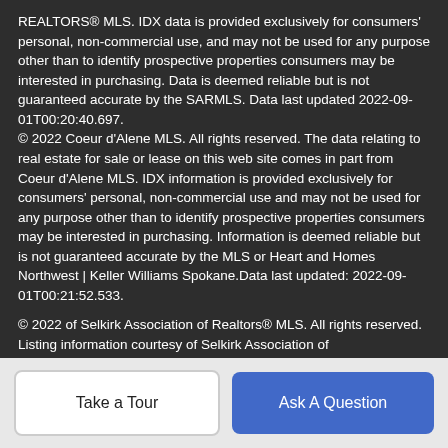REALTORS® MLS. IDX data is provided exclusively for consumers' personal, non-commercial use, and may not be used for any purpose other than to identify prospective properties consumers may be interested in purchasing. Data is deemed reliable but is not guaranteed accurate by the SARMLS. Data last updated 2022-09-01T00:20:40.697.
© 2022 Coeur d'Alene MLS. All rights reserved. The data relating to real estate for sale or lease on this web site comes in part from Coeur d'Alene MLS. IDX information is provided exclusively for consumers' personal, non-commercial use and may not be used for any purpose other than to identify prospective properties consumers may be interested in purchasing. Information is deemed reliable but is not guaranteed accurate by the MLS or Heart and Homes Northwest | Keller Williams Spokane.Data last updated: 2022-09-01T00:21:52.533.

© 2022 of Selkirk Association of Realtors® MLS. All rights reserved. Listing information courtesy of Selkirk Association of
Take a Tour
Ask A Question